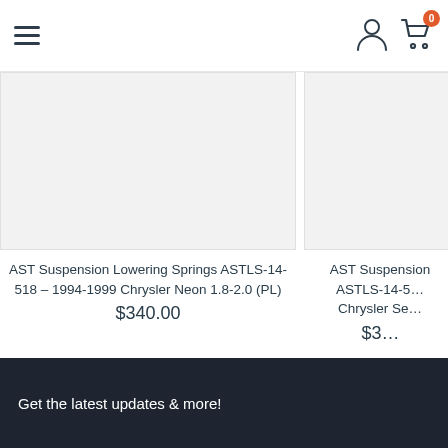Navigation header with hamburger menu, user icon, and cart icon (0 items)
[Figure (photo): Product image placeholder for AST Suspension Lowering Springs ASTLS-14-518, light grey rectangle]
AST Suspension Lowering Springs ASTLS-14-518 - 1994-1999 Chrysler Neon 1.8-2.0 (PL)
$340.00
[Figure (photo): Partial product image placeholder for second AST Suspension product, light grey rectangle]
AST Suspension ASTLS-14-5... Chrysler Se...
$3...
Get the latest updates & more!